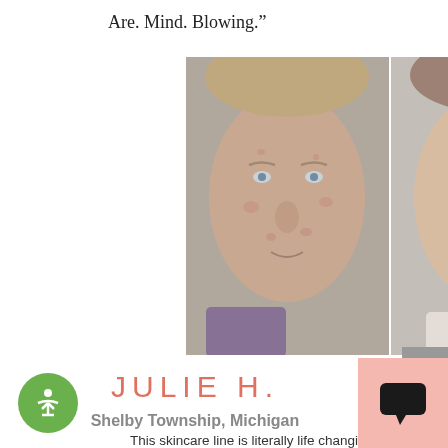Are. Mind. Blowing.”
[Figure (photo): Before and after side-by-side photos of a woman's face showing skin improvement: left photo shows redness and blemishes, right photo shows clearer skin]
JULIE H.
Shelby Township, Michigan
This skincare line is literally life changing.